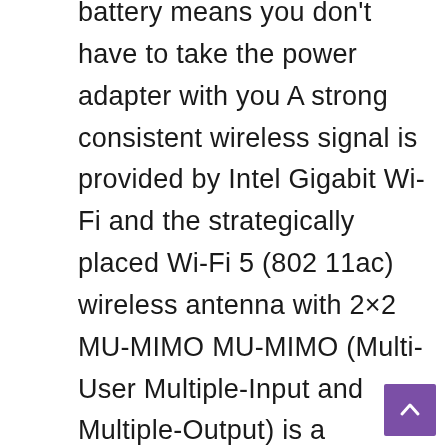battery means you don't have to take the power adapter with you A strong consistent wireless signal is provided by Intel Gigabit Wi-Fi and the strategically placed Wi-Fi 5 (802 11ac) wireless antenna with 2×2 MU-MIMO MU-MIMO (Multi-User Multiple-Input and Multiple-Output) is a standard that offers faster wireless speeds and can handle more wireless devices at once Two USB Type-C ports for ultra-quick data transfer video streaming and battery charging The reversible USB 3 1 Type-C connector is the same at both ends and on both sides so the...